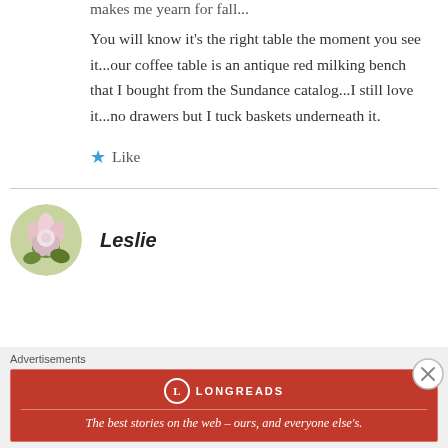makes me yearn for fall...
You will know it’s the right table the moment you see it…our coffee table is an antique red milking bench that I bought from the Sundance catalog…I still love it…no drawers but I tuck baskets underneath it.
Like
Leslie
Advertisements
The best stories on the web – ours, and everyone else’s.